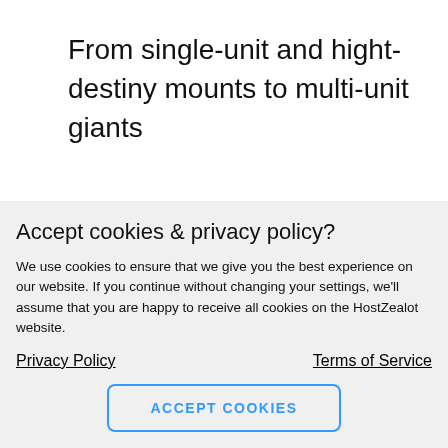From single-unit and hight-destiny mounts to multi-unit giants
Multiple Locations
Accept cookies & privacy policy?
We use cookies to ensure that we give you the best experience on our website. If you continue without changing your settings, we'll assume that you are happy to receive all cookies on the HostZealot website.
Privacy Policy
Terms of Service
ACCEPT COOKIES